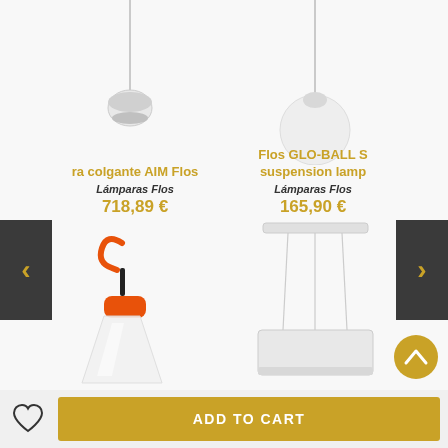[Figure (photo): Pendant lamp AIM Flos - white spherical lamp hanging from cord on left side]
[Figure (photo): Flos GLO-BALL S suspension lamp - round white globe pendant lamp on right side]
ra colgante AIM Flos
Lámparas Flos
718,89 €
Flos GLO-BALL S suspension lamp
Lámparas Flos
165,90 €
[Figure (photo): Orange portable lamp with conical white frosted glass shade and orange hook, special offer badge]
Oferta especial
[Figure (photo): White rectangular pendant lamp with multiple hanging cords from rectangular ceiling plate]
ADD TO CART